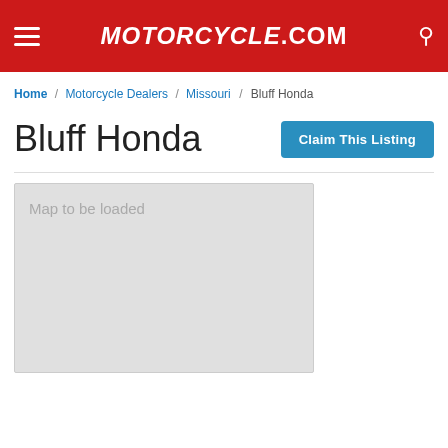MOTORCYCLE.COM
Home / Motorcycle Dealers / Missouri / Bluff Honda
Bluff Honda
Claim This Listing
[Figure (map): Map placeholder area with text 'Map to be loaded']